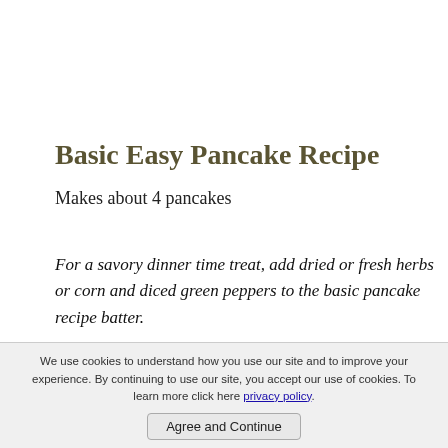Basic Easy Pancake Recipe
Makes about 4 pancakes
For a savory dinner time treat, add dried or fresh herbs or corn and diced green peppers to the basic pancake recipe batter.
1 cup flour
1 egg
We use cookies to understand how you use our site and to improve your experience. By continuing to use our site, you accept our use of cookies. To learn more click here privacy policy
Agree and Continue